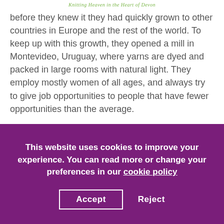Knitting Heaven in the Heart of Devon
before they knew it they had quickly grown to other countries in Europe and the rest of the world. To keep up with this growth, they opened a mill in Montevideo, Uruguay, where yarns are dyed and packed in large rooms with natural light. They employ mostly women of all ages, and always try to give job opportunities to people that have fewer opportunities than the average.
[Figure (photo): Partial view of a photo, mostly dark blue/navy, partially obscured by cookie consent overlay]
This website uses cookies to improve your experience. You can read more or change your preferences in our cookie policy
Accept   Reject